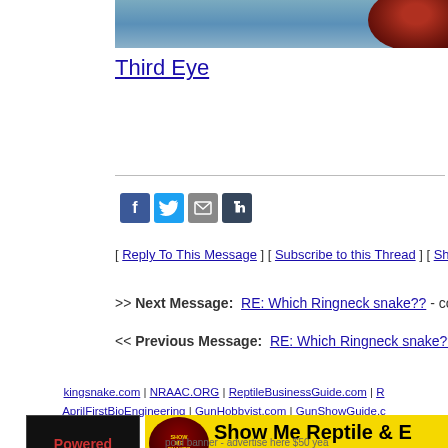[Figure (photo): Partial image at top, appears to be a water or outdoor scene with a red/dark animal, cropped at top of page]
Third Eye
[Figure (other): Social sharing icons: Facebook, Twitter, Email, Tumblr]
[ Reply To This Message ] [ Subscribe to this Thread ] [ Show Entire T…
>> Next Message: RE: Which Ringneck snake?? - coluber, Thu Apr…
<< Previous Message: RE: Which Ringneck snake?? - coluber, We…
kingsnake.com | NRAAC.ORG | ReptileBusinessGuide.com | R… AprilFirstBioEngineering | GunHobbyist.com | GunShowGuide.c…
[Figure (other): Powered box - black rectangle with red Powered text]
[Figure (other): Show Me Reptile & Exotics advertisement banner on yellow background]
pool banner - advertise here $50 yea…
kingsnake.com®
- this site op…